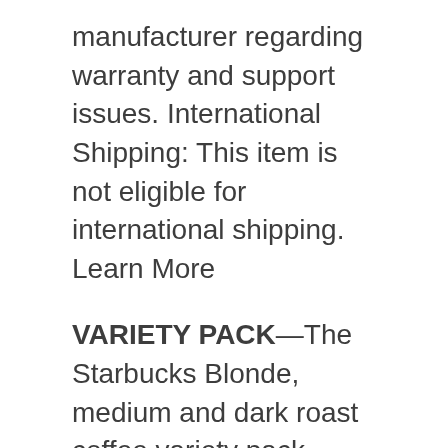manufacturer regarding warranty and support issues. International Shipping: This item is not eligible for international shipping. Learn More
VARIETY PACK—The Starbucks Blonde, medium and dark roast coffee variety pack includes Veranda Blend, Pike Place Roast, Breakfast Blend, Caffè Verona and French Roast
FRESH TASTE—Starbucks adheres to the highest quality standards—shipping you the same carefully roasted 100% arabica coffee beans we brew in our cafés
MAKE IT YOUR OWN—The perfect everyday cup, Starbucks coffee is great for adding personal touches of inspiration like milk, cream, syrup or a variety of other additions to make it your own